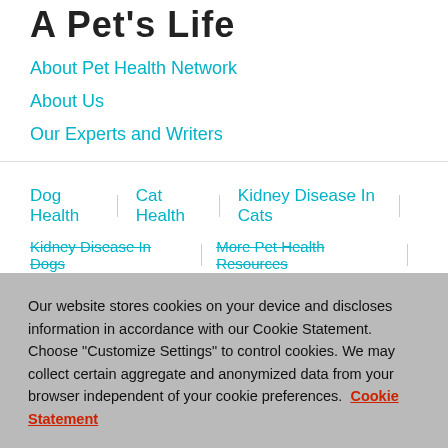A Pet's Life
About Pet Health Network
About Us
Our Experts and Writers
Dog Health | Cat Health | Kidney Disease In Cats |
Kidney Disease In Dogs | More Pet Health Resources
Our website stores cookies on your device and discloses information in accordance with our Cookie Statement. Choose "Customize Settings" to control cookies. We may collect certain aggregate and anonymized data from your browser independent of your cookie preferences. Cookie Statement